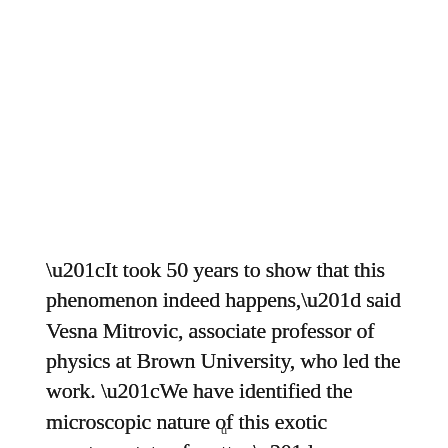“It took 50 years to show that this phenomenon indeed happens,” said Vesna Mitrovic, associate professor of physics at Brown University, who led the work. “We have identified the microscopic nature of this exotic quantum state of matter.”
u